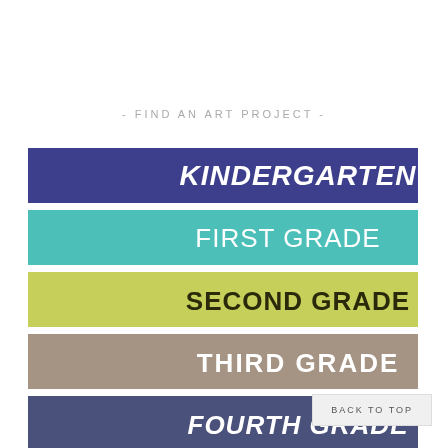- FIND AN ART PROJECT -
[Figure (illustration): Five colorful pennant/banner shaped buttons for grade levels: Kindergarten (dark blue/navy), First Grade (teal), Second Grade (yellow-green), Third Grade (taupe/brown), Fourth Grade (dark blue/slate)]
BACK TO TOP